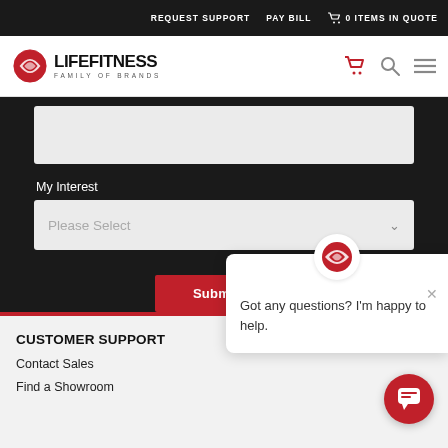REQUEST SUPPORT  PAY BILL  0 ITEMS IN QUOTE
[Figure (logo): Life Fitness Family of Brands logo with red oval icon]
My Interest
Please Select
Submit
Got any questions? I'm happy to help.
CUSTOMER SUPPORT
Contact Sales
Find a Showroom